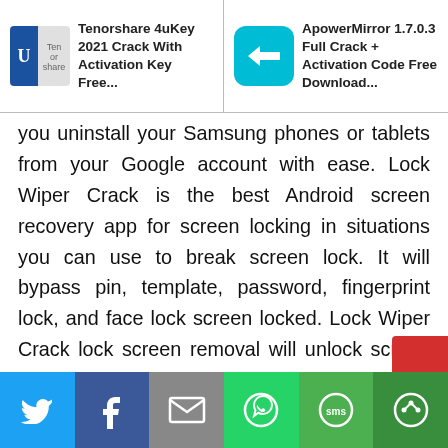Tenorshare 4uKey 2021 Crack With Activation Key Free | ApowerMirror 1.7.0.3 Full Crack + Activation Code Free Download
you uninstall your Samsung phones or tablets from your Google account with ease. Lock Wiper Crack is the best Android screen recovery app for screen locking in situations you can use to break screen lock. It will bypass pin, template, password, fingerprint lock, and face lock screen locked. Lock Wiper Crack lock screen removal will unlock screen lock for most Samsung devices without any data loss. All are healthy for you. Not necessarily technical skills.
Share on Twitter | Share on Facebook | Share by Email | Share on WhatsApp | Share via SMS | Share